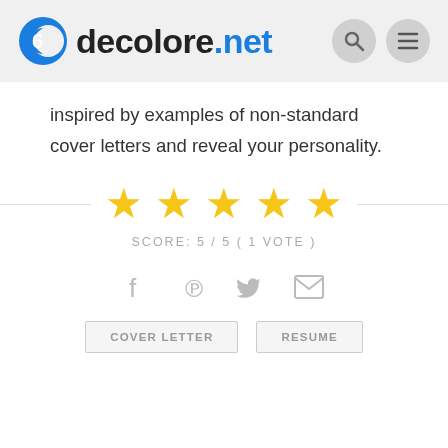decolore.net
inspired by examples of non-standard cover letters and reveal your personality.
[Figure (other): 5-star rating display with 5 gold stars and score label SCORE: 5 / 5 (1 VOTE)]
SCORE:  5 / 5 ( 1 VOTE )
[Figure (infographic): Social sharing icons: Facebook, Pinterest, Twitter, Email]
COVER LETTER
RESUME